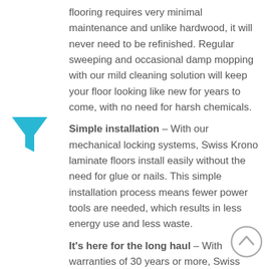flooring requires very minimal maintenance and unlike hardwood, it will never need to be refinished. Regular sweeping and occasional damp mopping with our mild cleaning solution will keep your floor looking like new for years to come, with no need for harsh chemicals.
Simple installation – With our mechanical locking systems, Swiss Krono laminate floors install easily without the need for glue or nails. This simple installation process means fewer power tools are needed, which results in less energy use and less waste.
It's here for the long haul – With warranties of 30 years or more, Swiss Krono laminate flooring is more durable than carpet or hardwood, and won't have to be replaced nearly as often. This translates to less waste being sent to a landfill.
[Figure (illustration): Cyan/blue funnel icon on the left side of the page]
[Figure (illustration): Gray circular scroll-up arrow icon in the bottom right corner]